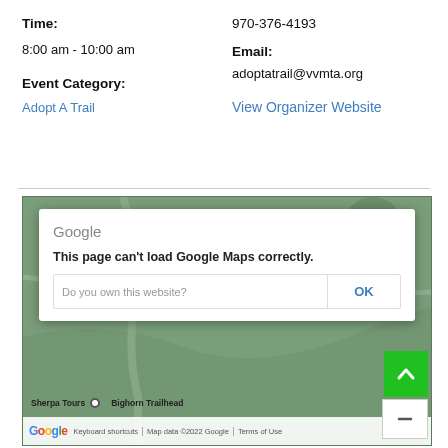Time:
970-376-4193
8:00 am - 10:00 am
Email:
Event Category:
adoptatrail@vvmta.org
Adopt A Trail
View Organizer Website
[Figure (screenshot): Google Maps screenshot with a dialog box saying 'This page can't load Google Maps correctly.' with a 'Do you own this website?' prompt and an OK button. The map shows Sherpa Tours and Bighorn Trailhead locations. Map data ©2022 Google.]